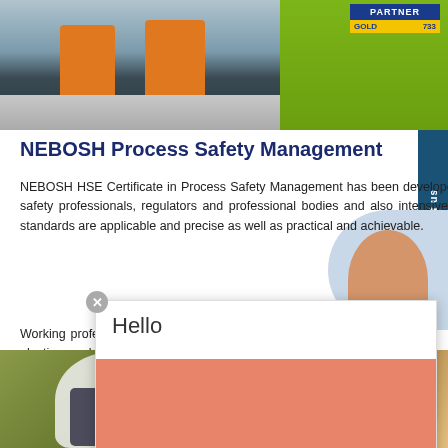[Figure (photo): Top banner with two workers in orange safety vests and hard hats, green background, with NEBOSH gold partner badge (733) in top right]
NEBOSH Process Safety Management
NEBOSH HSE Certificate in Process Safety Management has been developed in consultation with employers, health and safety professionals, regulators and professional bodies and also intensive research so that the knowledge and safety standards are applicable and precise as well as practical and achievable.
Working professionals around industries such as chemicals, plastics can benefit by doing this
[Figure (screenshot): Chat widget popup showing 'Hello' text above a pink/salmon colored box with 'HOLA' text and a hand waving illustration]
[Figure (photo): Bottom section showing worker in white hard hat on left side and industrial facility on right side]